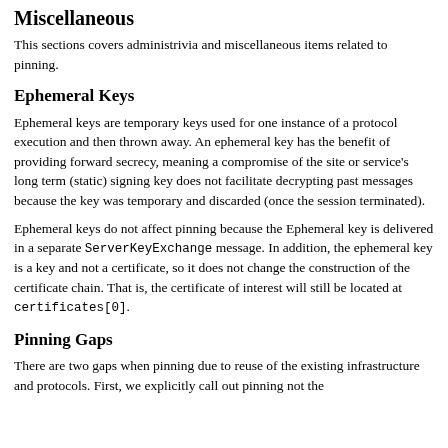Miscellaneous
This sections covers administrivia and miscellaneous items related to pinning.
Ephemeral Keys
Ephemeral keys are temporary keys used for one instance of a protocol execution and then thrown away. An ephemeral key has the benefit of providing forward secrecy, meaning a compromise of the site or service's long term (static) signing key does not facilitate decrypting past messages because the key was temporary and discarded (once the session terminated).
Ephemeral keys do not affect pinning because the Ephemeral key is delivered in a separate ServerKeyExchange message. In addition, the ephemeral key is a key and not a certificate, so it does not change the construction of the certificate chain. That is, the certificate of interest will still be located at certificates[0].
Pinning Gaps
There are two gaps when pinning due to reuse of the existing infrastructure and protocols. First, we explicitly call out pinning not the